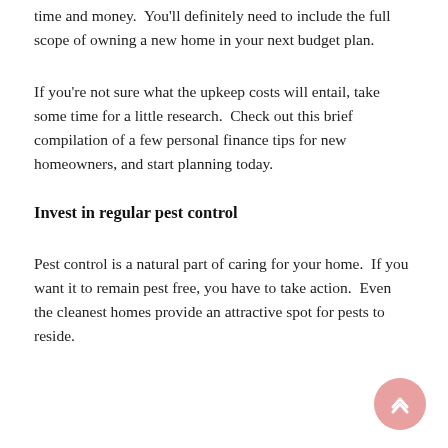time and money.  You'll definitely need to include the full scope of owning a new home in your next budget plan.
If you're not sure what the upkeep costs will entail, take some time for a little research.  Check out this brief compilation of a few personal finance tips for new homeowners, and start planning today.
Invest in regular pest control
Pest control is a natural part of caring for your home.  If you want it to remain pest free, you have to take action.  Even the cleanest homes provide an attractive spot for pests to reside.